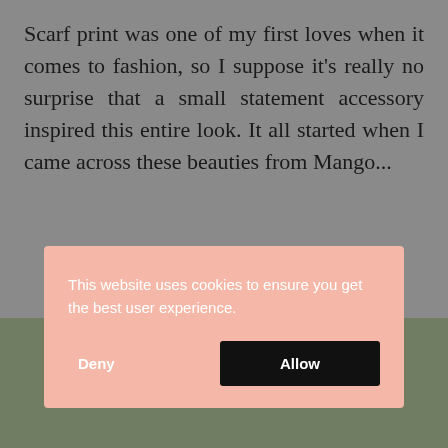Scarf print was one of my first loves when it comes to fashion, so I suppose it's really no surprise that a small statement accessory inspired this entire look. It all started when I came across these beauties from Mango...
CONTINUE READING
[Figure (screenshot): Cookie consent banner overlay with salmon/pink background, white text reading 'This website uses cookies to ensure you get the best user experience.', with Deny and Allow buttons]
[Figure (photo): Partial view of a photo at the bottom of the page with green/nature background]